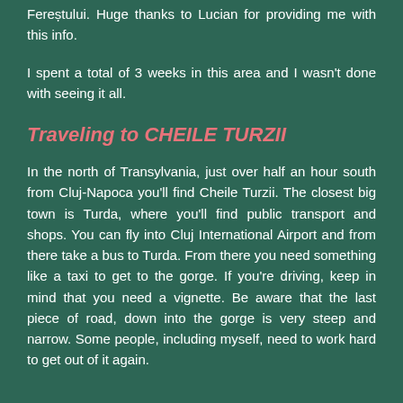Fereștului. Huge thanks to Lucian for providing me with this info.
I spent a total of 3 weeks in this area and I wasn't done with seeing it all.
Traveling to CHEILE TURZII
In the north of Transylvania, just over half an hour south from Cluj-Napoca you'll find Cheile Turzii. The closest big town is Turda, where you'll find public transport and shops. You can fly into Cluj International Airport and from there take a bus to Turda. From there you need something like a taxi to get to the gorge. If you're driving, keep in mind that you need a vignette. Be aware that the last piece of road, down into the gorge is very steep and narrow. Some people, including myself, need to work hard to get out of it again.